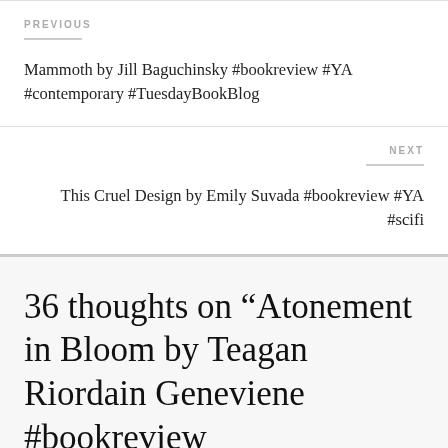PREVIOUS
Mammoth by Jill Baguchinsky #bookreview #YA #contemporary #TuesdayBookBlog
NEXT
This Cruel Design by Emily Suvada #bookreview #YA #scifi
36 thoughts on “Atonement in Bloom by Teagan Riordain Geneviene #bookreview #urbanfantasy”